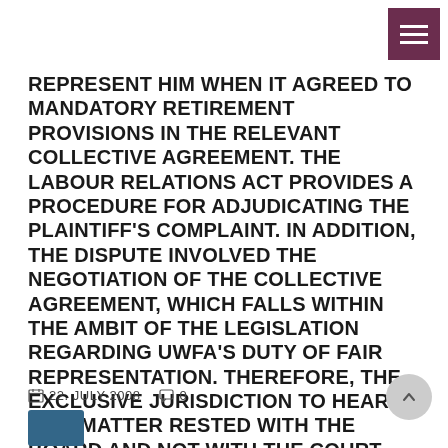REPRESENT HIM WHEN IT AGREED TO MANDATORY RETIREMENT PROVISIONS IN THE RELEVANT COLLECTIVE AGREEMENT. THE LABOUR RELATIONS ACT PROVIDES A PROCEDURE FOR ADJUDICATING THE PLAINTIFF'S COMPLAINT. IN ADDITION, THE DISPUTE INVOLVED THE NEGOTIATION OF THE COLLECTIVE AGREEMENT, WHICH FALLS WITHIN THE AMBIT OF THE LEGISLATION REGARDING UWFA'S DUTY OF FAIR REPRESENTATION. THEREFORE, THE EXCLUSIVE JURISDICTION TO HEAR THIS MATTER RESTED WITH THE BOARD AND NOT WITH THE COURT.
22. JULY 2008   0